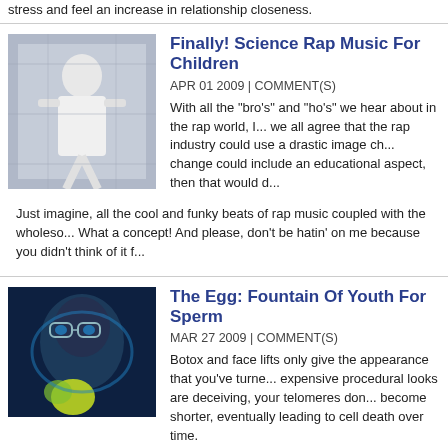stress and feel an increase in relationship closeness.
Finally! Science Rap Music For Children
APR 01 2009 | COMMENT(S)
[Figure (photo): Person in white outfit standing in a building]
With all the "bro's" and "ho's" we hear about in the rap world, I... we all agree that the rap industry could use a drastic image ch... change could include an educational aspect, then that would d...
Just imagine, all the cool and funky beats of rap music coupled with the wholeso... What a concept!  And please, don't be hatin' on me because you didn't think of it f...
The Egg: Fountain Of Youth For Sperm
MAR 27 2009 | COMMENT(S)
[Figure (photo): Close-up of a person's face with scientific/lab imagery overlay in blue and green tones]
Botox and face lifts only give the appearance that you've turne... expensive procedural looks are deceiving, your telomeres don... become shorter, eventually leading to cell death over time.
Unfortunately, scientists are far from curing this universal "disease" known as agin... mechanisms of aging will have a more immediate impact on the development of s... the University of Gothenburg in Sweden have discovered that the female egg is c... molecular clock.
Mass Extinction Event? Don't Forget An Extra P
MAR 24 2009 | COMMENT(S)
[Figure (photo): Image with brown figures/silhouettes]